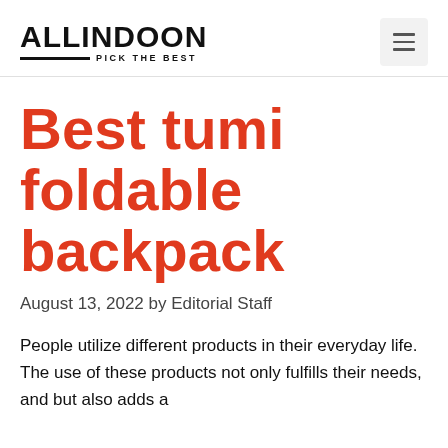ALLINDOON PICK THE BEST
Best tumi foldable backpack
August 13, 2022 by Editorial Staff
People utilize different products in their everyday life. The use of these products not only fulfills their needs, and but also adds a